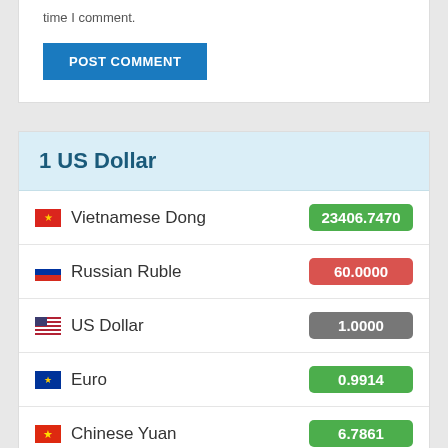time I comment.
POST COMMENT
1 US Dollar
| Currency | Rate |
| --- | --- |
| Vietnamese Dong | 23406.7470 |
| Russian Ruble | 60.0000 |
| US Dollar | 1.0000 |
| Euro | 0.9914 |
| Chinese Yuan | 6.7861 |
| Ukrainian Hryvnia | 36.8517 |
| Belarusian Ruble | 2.5234 |